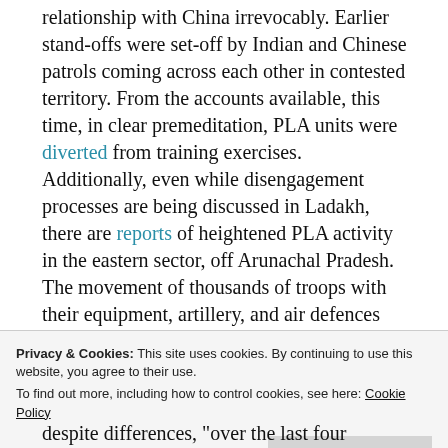relationship with China irrevocably. Earlier stand-offs were set-off by Indian and Chinese patrols coming across each other in contested territory. From the accounts available, this time, in clear premeditation, PLA units were diverted from training exercises. Additionally, even while disengagement processes are being discussed in Ladakh, there are reports of heightened PLA activity in the eastern sector, off Arunachal Pradesh. The movement of thousands of troops with their equipment, artillery, and air defences points to considerable planning.
Privacy & Cookies: This site uses cookies. By continuing to use this website, you agree to their use. To find out more, including how to control cookies, see here: Cookie Policy
Close and accept
despite differences, "over the last four decades not a